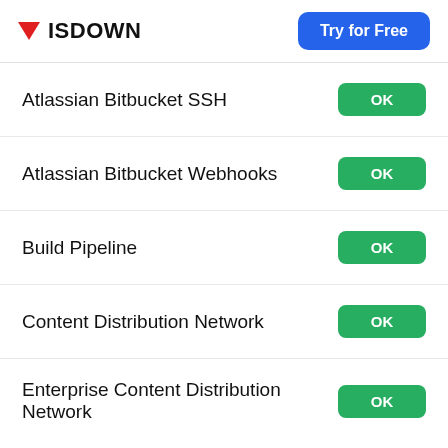ISDOWN | Try for Free
Atlassian Bitbucket SSH — OK
Atlassian Bitbucket Webhooks — OK
Build Pipeline — OK
Content Distribution Network — OK
Enterprise Content Distribution Network — OK